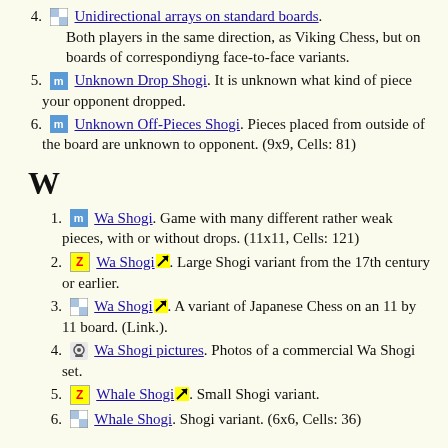4. [icon] Unidirectional arrays on standard boards. Both players in the same direction, as Viking Chess, but on boards of correspondiyng face-to-face variants.
5. [icon-m] Unknown Drop Shogi. It is unknown what kind of piece your opponent dropped.
6. [icon-m] Unknown Off-Pieces Shogi. Pieces placed from outside of the board are unknown to opponent. (9x9, Cells: 81)
W
1. [icon-m] Wa Shogi. Game with many different rather weak pieces, with or without drops. (11x11, Cells: 121)
2. [icon-z] Wa Shogi [arrow]. Large Shogi variant from the 17th century or earlier.
3. [icon-checker] Wa Shogi [arrow]. A variant of Japanese Chess on an 11 by 11 board. (Link.).
4. [icon-camera] Wa Shogi pictures. Photos of a commercial Wa Shogi set.
5. [icon-z] Whale Shogi [arrow]. Small Shogi variant.
6. [icon-checker] Whale Shogi. Shogi variant. (6x6, Cells: 36)